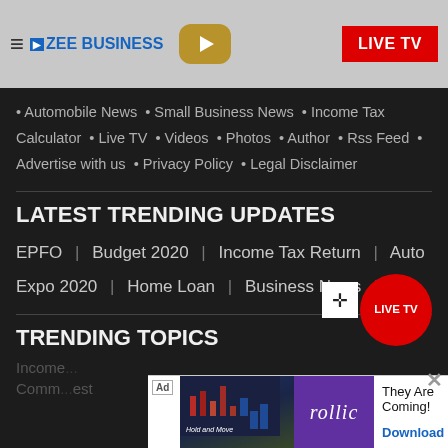ZEE BUSINESS | LIVE TV
Automobile News • Small Business News • Income Tax Calculator • Live TV • Videos • Photos • Author • Rss Feed • Advertise with us • Privacy Policy • Legal Disclaimer
LATEST TRENDING UPDATES
EPFO | Budget 2020 | Income Tax Return | Auto Expo 2020 | Home Loan | Business News |
TRENDING TOPICS
Income... Comm...est
[Figure (screenshot): Ad banner at the bottom showing rollic game ad with 'They Are Coming!' tagline and Download button]